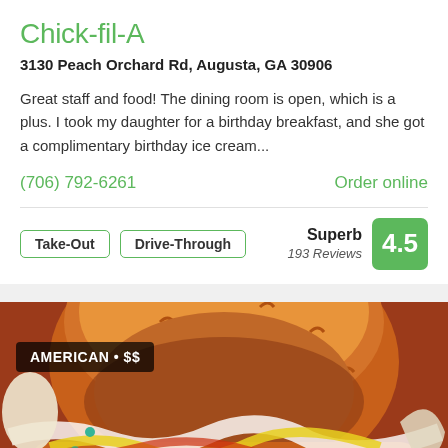Chick-fil-A
3130 Peach Orchard Rd, Augusta, GA 30906
Great staff and food! The dining room is open, which is a plus. I took my daughter for a birthday breakfast, and she got a complimentary birthday ice cream...
(706) 792-6261
Order online
Take-Out
Drive-Through
Superb 193 Reviews 4.5
[Figure (photo): Close-up illustration of a Chick-fil-A chicken sandwich burger, showing the bun and filling with colorful illustrated style. Category badge reads: AMERICAN • $$]